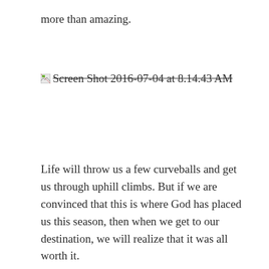more than amazing.
[Figure (other): Broken image placeholder with strikethrough text: Screen Shot 2016-07-04 at 8.14.43 AM]
Life will throw us a few curveballs and get us through uphill climbs. But if we are convinced that this is where God has placed us this season, then when we get to our destination, we will realize that it was all worth it.